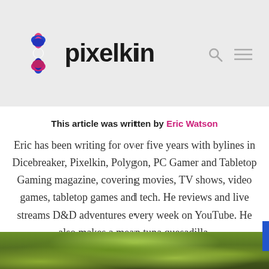pixelkin
This article was written by Eric Watson
Eric has been writing for over five years with bylines in Dicebreaker, Pixelkin, Polygon, PC Gamer and Tabletop Gaming magazine, covering movies, TV shows, video games, tabletop games and tech. He reviews and live streams D&D adventures every week on YouTube. He also makes a mean tuna quesadilla.
[Figure (photo): Green foliage / outdoor background visible at bottom of page]